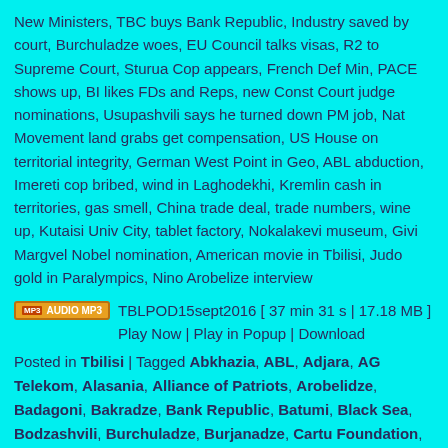New Ministers, TBC buys Bank Republic, Industry saved by court, Burchuladze woes, EU Council talks visas, R2 to Supreme Court, Sturua Cop appears, French Def Min, PACE shows up, BI likes FDs and Reps, new Const Court judge nominations, Usupashvili says he turned down PM job, Nat Movement land grabs get compensation, US House on territorial integrity, German West Point in Geo, ABL abduction, Imereti cop bribed, wind in Laghodekhi, Kremlin cash in territories, gas smell, China trade deal, trade numbers, wine up, Kutaisi Univ City, tablet factory, Nokalakevi museum, Givi Margvel Nobel nomination, American movie in Tbilisi, Judo gold in Paralympics, Nino Arobelize interview
TBLPOD15sept2016 [ 37 min 31 s | 17.18 MB ] Play Now | Play in Popup | Download
Posted in Tbilisi | Tagged Abkhazia, ABL, Adjara, AG Telekom, Alasania, Alliance of Patriots, Arobelidze, Badagoni, Bakradze, Bank Republic, Batumi, Black Sea, Bodzashvili, Burchuladze, Burjanadze, Cartu Foundation, Caucasus, Central Election Commission, Danelia, Datishvili, Eloshvili, Free Democrats, GDS TV, Gegeshidze,